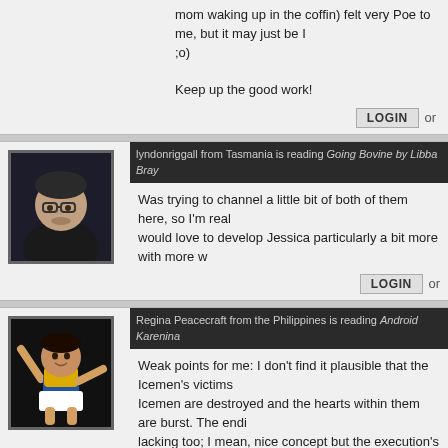mom waking up in the coffin) felt very Poe to me, but it may just be I ;o)

Keep up the good work!
LOGIN or
lyndonriggall from Tasmania is reading Going Bovine by Libba Bray
Was trying to channel a little bit of both of them here, so I'm real... would love to develop Jessica particularly a bit more with more w...
LOGIN or
Regina Peacecraft from the Philippines is reading Android Karenina
Weak points for me: I don't find it plausible that the Icemen's victims... Icemen are destroyed and the hearts within them are burst. The endi... lacking too; I mean, nice concept but the execution's a little off. For th... and interesting setting, interesting characters too, who sadly - like wh... - didn't have enough space for development.
LOGIN or